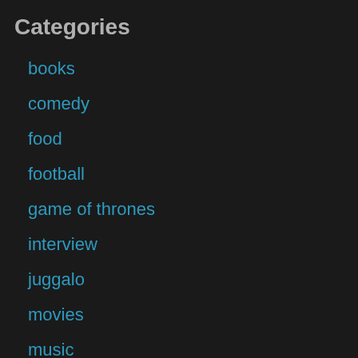Categories
books
comedy
food
football
game of thrones
interview
juggalo
movies
music
NFL
politics
pop culture